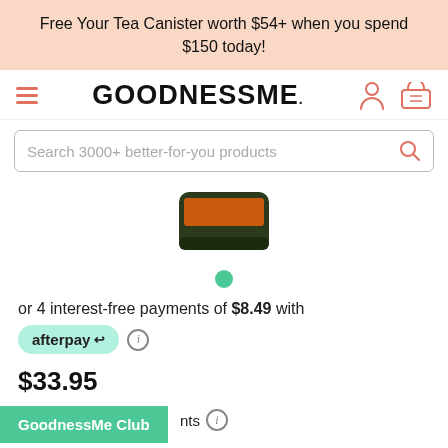Free Your Tea Canister worth $54+ when you spend $150 today!
[Figure (logo): GoodnessMe logo with hamburger menu, user icon, and basket icon]
Search 3000+ better-for-you products
[Figure (photo): Partial product image - dark green and orange item (tea canister)]
[Figure (other): Green dot carousel indicator]
or 4 interest-free payments of $8.49 with
[Figure (logo): Afterpay logo badge with info icon]
$33.95
nts
[Figure (other): GoodnessMe Club green badge overlay]